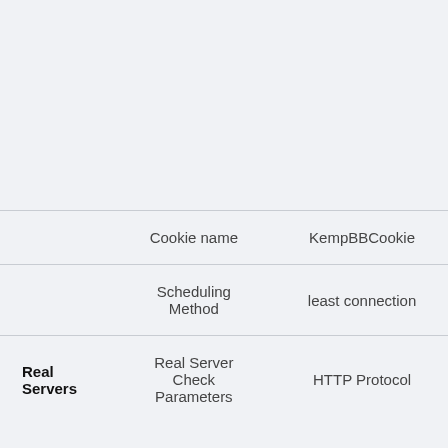|  | Parameter | Value |
| --- | --- | --- |
|  | Cookie name | KempBBCookie |
|  | Scheduling Method | least connection |
| Real Servers | Real Server Check Parameters | HTTP Protocol |